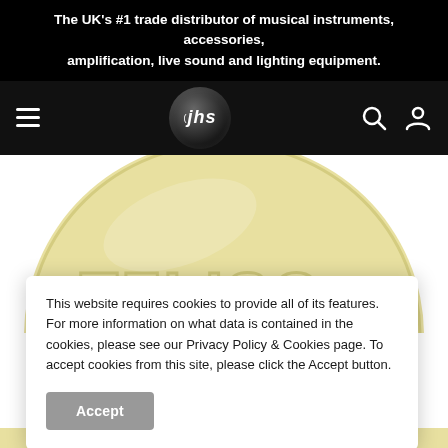The UK's #1 trade distributor of musical instruments, accessories, amplification, live sound and lighting equipment.
[Figure (logo): JHS logo: black circle with italic 'jhs' text in white, navigation bar with hamburger menu, search icon, and user account icon]
[Figure (photo): Close-up photo of a large round yellow/cream coloured guitar pick with embossed text partially visible reading 'TFLISO' or similar]
This website requires cookies to provide all of its features. For more information on what data is contained in the cookies, please see our Privacy Policy & Cookies page. To accept cookies from this site, please click the Accept button.